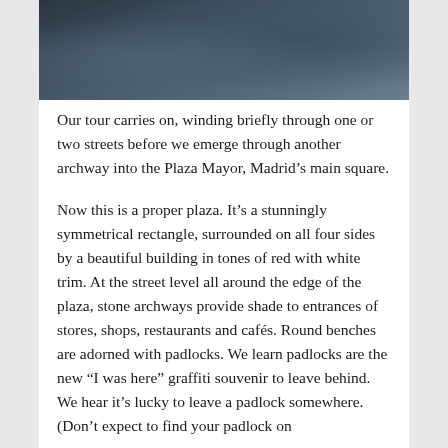[Figure (photo): Partial photograph visible at the top of the page, showing a dark scene, appears to be people or figures, cropped at bottom.]
Our tour carries on, winding briefly through one or two streets before we emerge through another archway into the Plaza Mayor, Madrid’s main square.
Now this is a proper plaza. It’s a stunningly symmetrical rectangle, surrounded on all four sides by a beautiful building in tones of red with white trim. At the street level all around the edge of the plaza, stone archways provide shade to entrances of stores, shops, restaurants and cafés. Round benches are adorned with padlocks. We learn padlocks are the new “I was here” graffiti souvenir to leave behind. We hear it’s lucky to leave a padlock somewhere. (Don’t expect to find your padlock on